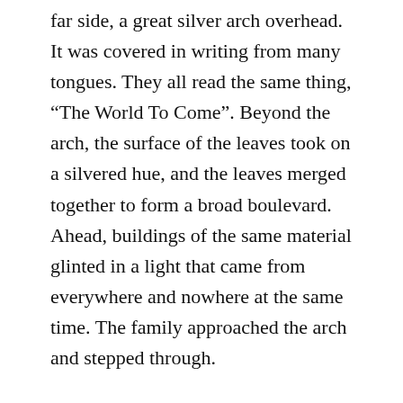far side, a great silver arch overhead. It was covered in writing from many tongues. They all read the same thing, “The World To Come”. Beyond the arch, the surface of the leaves took on a silvered hue, and the leaves merged together to form a broad boulevard. Ahead, buildings of the same material glinted in a light that came from everywhere and nowhere at the same time. The family approached the arch and stepped through.
Among the buildings, souls drifted about, and other, more solid beings went about what appeared to be normal daily business. Seeing the Human’s family standing in the street, one of these beings stopped and came nearer.